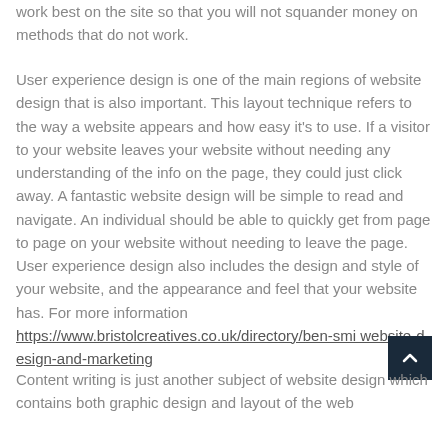work best on the site so that you will not squander money on methods that do not work.
User experience design is one of the main regions of website design that is also important. This layout technique refers to the way a website appears and how easy it's to use. If a visitor to your website leaves your website without needing any understanding of the info on the page, they could just click away. A fantastic website design will be simple to read and navigate. An individual should be able to quickly get from page to page on your website without needing to leave the page. User experience design also includes the design and style of your website, and the appearance and feel that your website has. For more information https://www.bristolcreatives.co.uk/directory/ben-smi website-design-and-marketing
Content writing is just another subject of website design which contains both graphic design and layout of the web